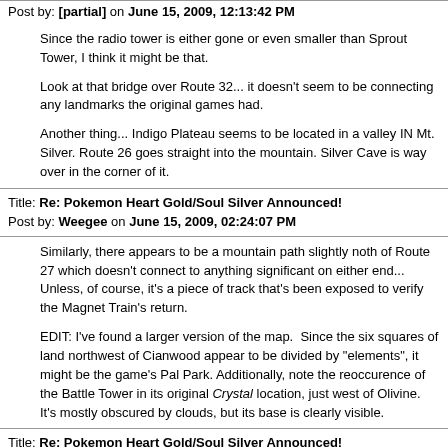Post by: [partial] on June 15, 2009, 12:13:42 PM
Since the radio tower is either gone or even smaller than Sprout Tower, I think it might be that.
Look at that bridge over Route 32... it doesn't seem to be connecting any landmarks the original games had.
Another thing... Indigo Plateau seems to be located in a valley IN Mt. Silver. Route 26 goes straight into the mountain. Silver Cave is way over in the corner of it.
Title: Re: Pokemon Heart Gold/Soul Silver Announced!
Post by: Weegee on June 15, 2009, 02:24:07 PM
Similarly, there appears to be a mountain path slightly noth of Route 27 which doesn't connect to anything significant on either end... Unless, of course, it's a piece of track that's been exposed to verify the Magnet Train's return.
EDIT: I've found a larger version of the map. Since the six squares of land northwest of Cianwood appear to be divided by "elements", it might be the game's Pal Park. Additionally, note the reoccurence of the Battle Tower in its original Crystal location, just west of Olivine. It's mostly obscured by clouds, but its base is clearly visible.
Title: Re: Pokemon Heart Gold/Soul Silver Announced!